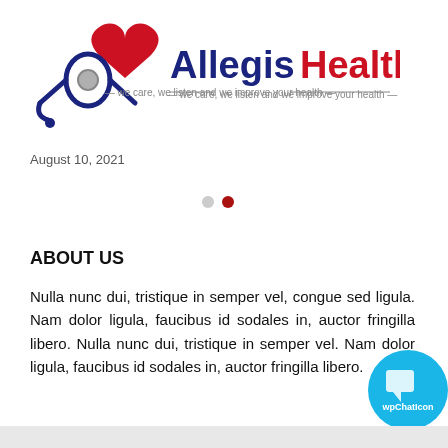[Figure (logo): Allegis HealthCare logo with red heart and stethoscope image, text 'Allegis' in dark navy, 'HealthCare' in red, tagline: 'we care, we listen and we improve your health']
August 10, 2021
[Figure (other): Carousel navigation dots: one gray dot and one red/dark dot]
ABOUT US
Nulla nunc dui, tristique in semper vel, congue sed ligula. Nam dolor ligula, faucibus id sodales in, auctor fringilla libero. Nulla nunc dui, tristique in semper vel. Nam dolor ligula, faucibus id sodales in, auctor fringilla libero.
[Figure (other): wpChatIcon chat bubble button, blue circle with chat icon and text 'wpChatIcon']